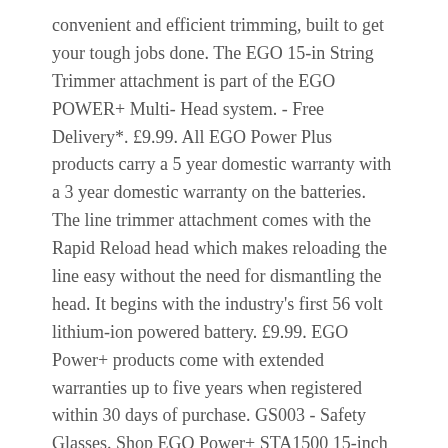convenient and efficient trimming, built to get your tough jobs done. The EGO 15-in String Trimmer attachment is part of the EGO POWER+ Multi- Head system. - Free Delivery*. £9.99. All EGO Power Plus products carry a 5 year domestic warranty with a 3 year domestic warranty on the batteries. The line trimmer attachment comes with the Rapid Reload head which makes reloading the line easy without the need for dismantling the head. It begins with the industry's first 56 volt lithium-ion powered battery. £9.99. EGO Power+ products come with extended warranties up to five years when registered within 30 days of purchase. GS003 - Safety Glasses. Shop EGO Power+ STA1500 15-inch String Trimmer Attachment for Ego 56-Volt Lithium-Ion Power Head System. The EGO Multi- Head System 15'' String Trimmer Attachment replacement head is for the